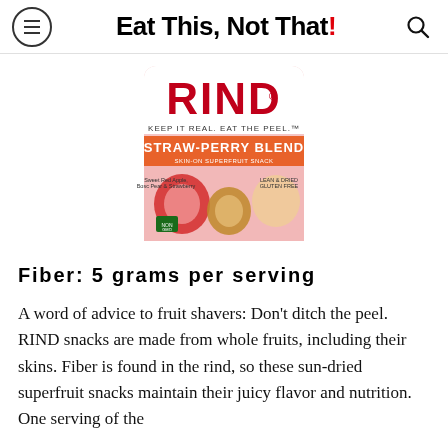Eat This, Not That!
[Figure (photo): RIND Snacks product package — Straw-Perry Blend skin-on superfruit snack. Red and pink packaging with large red RIND logo, tagline 'Keep it real. Eat the peel.' Shows dried apple, pear and strawberry fruit pieces.]
Fiber: 5 grams per serving
A word of advice to fruit shavers: Don't ditch the peel. RIND snacks are made from whole fruits, including their skins. Fiber is found in the rind, so these sun-dried superfruit snacks maintain their juicy flavor and nutrition. One serving of the